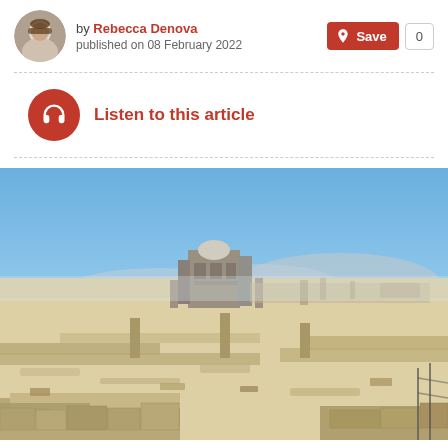by Rebecca Denova published on 08 February 2022
Save 0
Listen to this article
[Figure (photo): Aerial view of ancient ruins with stone walls and foundations spread across a hilltop, with a domed stone tower visible in the center-background, mountains in the distance, and a clear blue sky above.]